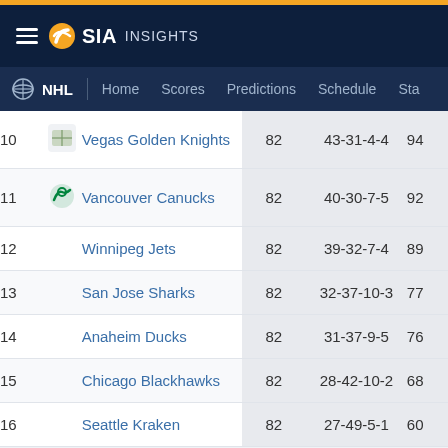SIA INSIGHTS — NHL | Home Scores Predictions Schedule Sta
| Rank | Team | GP | Record | Pts |
| --- | --- | --- | --- | --- |
| 10 | Vegas Golden Knights | 82 | 43-31-4-4 | 94 |
| 11 | Vancouver Canucks | 82 | 40-30-7-5 | 92 |
| 12 | Winnipeg Jets | 82 | 39-32-7-4 | 89 |
| 13 | San Jose Sharks | 82 | 32-37-10-3 | 77 |
| 14 | Anaheim Ducks | 82 | 31-37-9-5 | 76 |
| 15 | Chicago Blackhawks | 82 | 28-42-10-2 | 68 |
| 16 | Seattle Kraken | 82 | 27-49-5-1 | 60 |